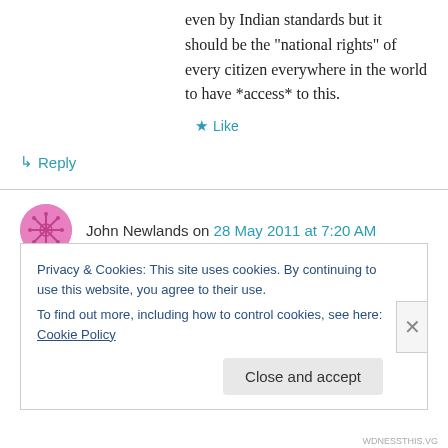even by Indian standards but it should be the "national rights" of every citizen everywhere in the world to have *access* to this.
★ Like
↳ Reply
John Newlands on 28 May 2011 at 7:20 AM
Douglas Wise I think there is partial evidence for global contraction and convergence of living
Privacy & Cookies: This site uses cookies. By continuing to use this website, you agree to their use.
To find out more, including how to control cookies, see here: Cookie Policy
Close and accept